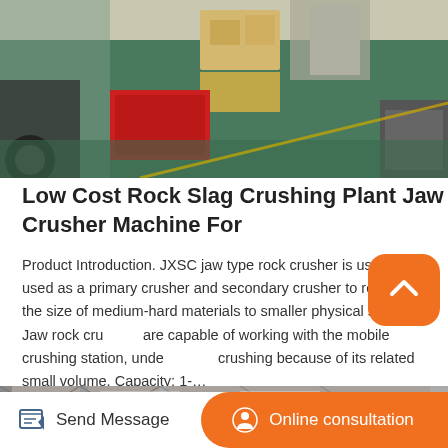[Figure (photo): Factory interior with green floor, workers, boxes and industrial machinery]
Low Cost Rock Slag Crushing Plant Jaw Crusher Machine For
Product Introduction. JXSC jaw type rock crusher is usually used as a primary crusher and secondary crusher to reduce the size of medium-hard materials to smaller physical size. Jaw rock crushers are capable of working with the mobile crushing station, underground crushing because of its related small volume. Capacity: 1-...
[Figure (photo): Industrial warehouse interior with orange overhead crane and metal roof structure]
Send Message
Online consultation